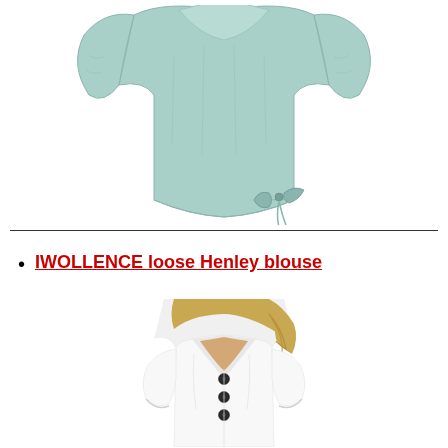[Figure (photo): Light blue/mint loose-fitting top or blouse with bow tie detail at the hem, photographed against white background, cropped view showing torso area]
IWOLLENCE loose Henley blouse
[Figure (photo): White V-neck button-front loose Henley blouse worn by a blonde woman, short sleeves, casual style, photographed against white background]